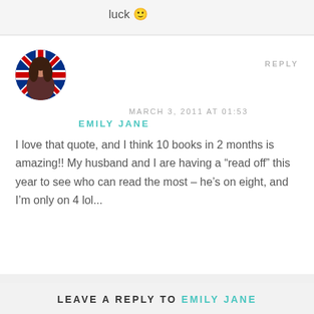luck 🙂
[Figure (photo): Circular avatar photo of a woman with long brown hair, wearing a red and blue top, with a UK flag visible in the background.]
REPLY
MARCH 3, 2011 AT 01:53
EMILY JANE
I love that quote, and I think 10 books in 2 months is amazing!! My husband and I are having a “read off” this year to see who can read the most – he’s on eight, and I’m only on 4 lol...
LEAVE A REPLY TO EMILY JANE